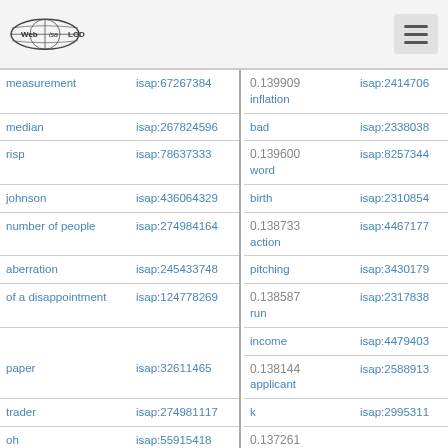Web ISA LOD
| Term | ISAP ID | Score / Term | ISAP ID |
| --- | --- | --- | --- |
| measurement | isap:67267384 | 0.139909 inflation | isap:2414706 |
| median | isap:267824596 | bad | isap:2338038 |
| risp | isap:78637333 | 0.139600 word | isap:8257344 |
| johnson | isap:436064329 | birth | isap:2310854 |
| number of people | isap:274984164 | 0.138733 action | isap:4467177 |
| aberration | isap:245433748 | pitching | isap:3430179 |
| of a disappointment | isap:124778269 | 0.138587 run / income | isap:2317838 / isap:4479403 |
| paper | isap:32611465 | 0.138144 applicant | isap:2588913 |
| trader | isap:274981117 | k | isap:2995311 |
| oh | isap:55915418 | 0.137261 |  |